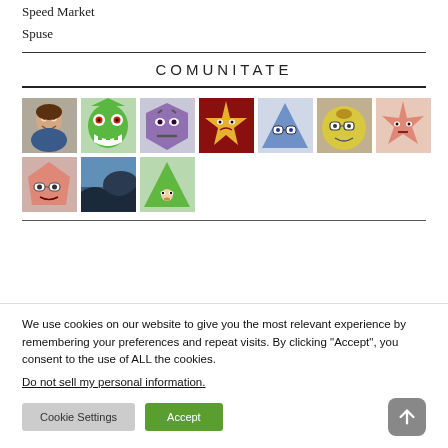Speed Market
Spuse
COMUNITATE
[Figure (photo): Grid of 10 community member avatars: row 1 has 7 avatars (real photo of smiling man, green cartoon monster, purple cartoon face, dark red star face, blue triangle with glasses, yellow round face with glasses, pink star shape); row 2 has 3 avatars (pink round face with glasses, landscape photo, green triangle character)]
We use cookies on our website to give you the most relevant experience by remembering your preferences and repeat visits. By clicking “Accept”, you consent to the use of ALL the cookies.
Do not sell my personal information.
Cookie Settings
Accept